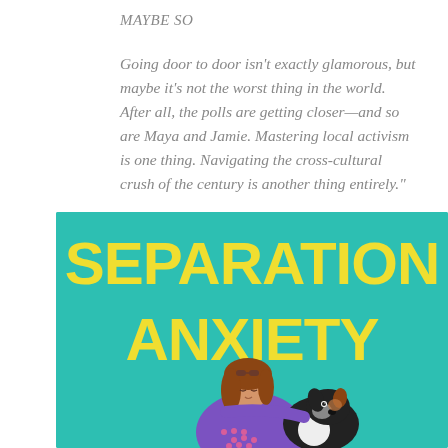MAYBE SO
Going door to door isn't exactly glamorous, but maybe it's not the worst thing in the world. After all, the polls are getting closer—and so are Maya and Jamie. Mastering local activism is one thing. Navigating the cross-cultural crush of the century is another thing entirely."
[Figure (illustration): Book cover for 'Separation Anxiety' on a teal background with large yellow blocky text reading SEPARATION ANXIETY, and an illustrated girl with brown hair wearing a purple sweater hugging a black and white dog.]